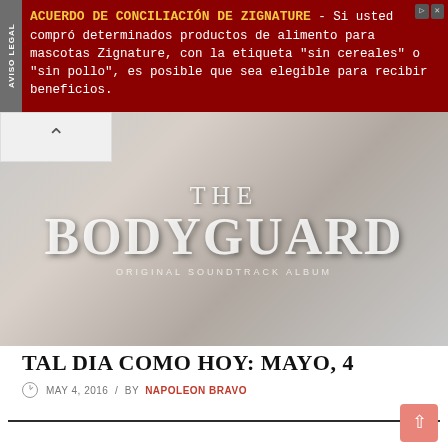[Figure (infographic): Advertisement banner with dark red background. Yellow bold text reads 'ACUERDO DE CONCILIACIÓN DE ZIGNATURE' followed by white text in monospace font. Left side has vertical grey tab reading 'AVISO LEGAL'. Top-right has close/info icons.]
[Figure (photo): The Bodyguard Original Soundtrack Album cover art shown as a muted grey-toned image with 'THE BODYGUARD' text and 'ORIGINAL SOUNDTRACK ALBUM' subtitle in white serif font.]
TAL DIA COMO HOY: MAYO, 4
MAY 4, 2016  /  BY NAPOLEON BRAVO